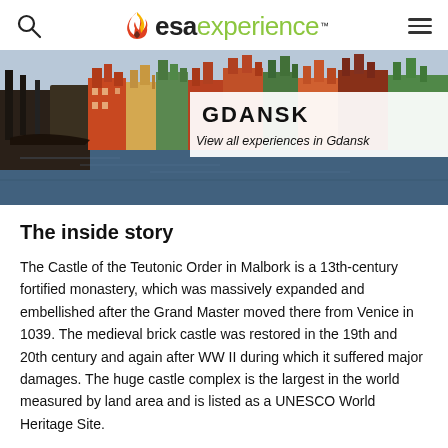esa experience
[Figure (photo): Panoramic photo of Gdansk waterfront skyline with colorful historic buildings, a boat on the river, reflected in water. Overlay text reads GDANSK and View all experiences in Gdansk.]
The inside story
The Castle of the Teutonic Order in Malbork is a 13th-century fortified monastery, which was massively expanded and embellished after the Grand Master moved there from Venice in 1039. The medieval brick castle was restored in the 19th and 20th century and again after WW II during which it suffered major damages. The huge castle complex is the largest in the world measured by land area and is listed as a UNESCO World Heritage Site.